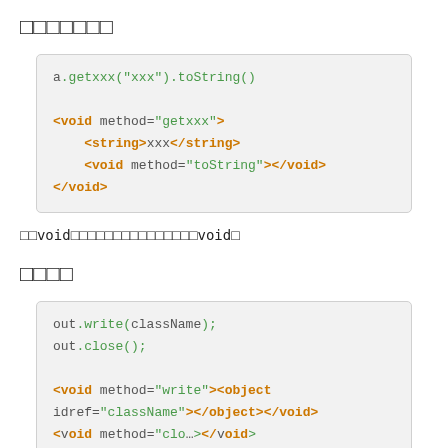□□□□□□□
[Figure (screenshot): Code block showing: a.getxxx("xxx").toString() followed by XML-like pseudocode with <void method="getxxx">, <string>xxx</string>, <void method="toString"></void>, </void>]
□□void□□□□□□□□□□□□□□□void□
□□□□
[Figure (screenshot): Code block showing: out.write(className); out.close(); followed by XML pseudocode <void method="write"><object idref="className"></object></void> and more cut off]